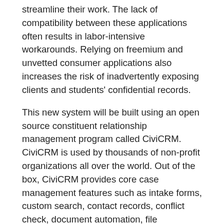streamline their work. The lack of compatibility between these applications often results in labor-intensive workarounds. Relying on freemium and unvetted consumer applications also increases the risk of inadvertently exposing clients and students' confidential records.
This new system will be built using an open source constituent relationship management program called CiviCRM. CiviCRM is used by thousands of non-profit organizations all over the world. Out of the box, CiviCRM provides core case management features such as intake forms, custom search, contact records, conflict check, document automation, file management, email notifications and custom reporting. However, like many other open source programs, CiviCRM can be overwhelming for first time users, the lack of direct support can also be an issue for certain users. Our goal is to customize CiviCRM by focusing only on the features important to law clinics and making it easy to deploy, operate, and support.
Our plan is to build this new system in three phases:
Phase one: build and evaluate the system with core features;
Phase two: improve existing features and build new